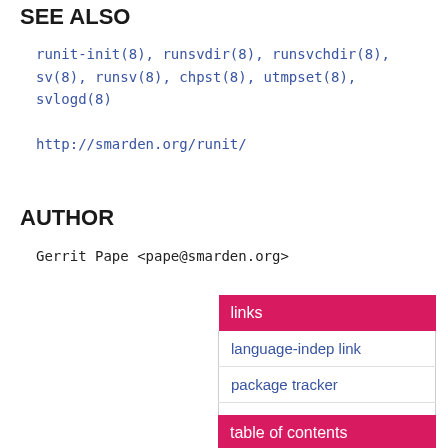SEE ALSO
runit-init(8), runsvdir(8), runsvchdir(8),
sv(8), runsv(8), chpst(8), utmpset(8),
svlogd(8)
http://smarden.org/runit/
AUTHOR
Gerrit Pape <pape@smarden.org>
| links |
| --- |
| language-indep link |
| package tracker |
| raw man page |
table of contents